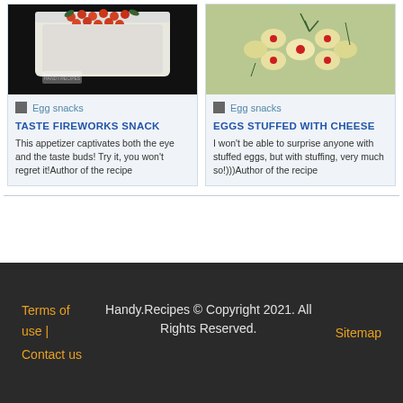[Figure (photo): Food photo: white cream cake topped with red fish roe/salmon eggs and green herbs on dark background]
[Figure (photo): Food photo: decorated deviled eggs arranged in a flower pattern with red cherry tomatoes and green dill on a plate]
Egg snacks
Egg snacks
TASTE FIREWORKS SNACK
EGGS STUFFED WITH CHEESE
This appetizer captivates both the eye and the taste buds! Try it, you won't regret it!Author of the recipe
I won't be able to surprise anyone with stuffed eggs, but with stuffing, very much so!)))Author of the recipe
Terms of use | Contact us    Handy.Recipes © Copyright 2021. All Rights Reserved.    Sitemap